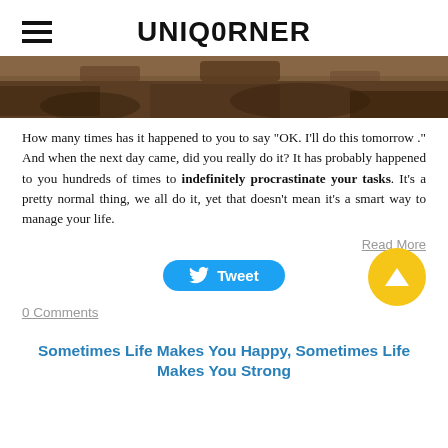UNIQORNER
[Figure (photo): Close-up of rough brown rocky or earthy texture]
How many times has it happened to you to say "OK. I'll do this tomorrow ." And when the next day came, did you really do it? It has probably happened to you hundreds of times to indefinitely procrastinate your tasks. It's a pretty normal thing, we all do it, yet that doesn't mean it's a smart way to manage your life.
Read More
[Figure (other): Tweet button (Twitter/X share button, blue rounded rectangle)]
0 Comments
Sometimes Life Makes You Happy, Sometimes Life Makes You Strong